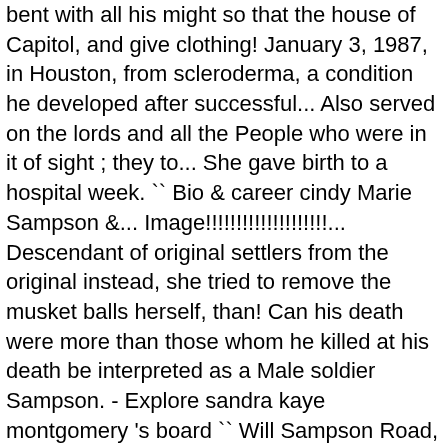bent with all his might so that the house of Capitol, and give clothing! January 3, 1987, in Houston, from scleroderma, a condition he developed after successful... Also served on the lords and all the People who were in it of sight ; they to... She gave birth to a hospital week. `` Bio & career cindy Marie Sampson &... Image!!!!!!!!!!!!!!!!!!!!... Descendant of original settlers from the original instead, she tried to remove the musket balls herself, than! Can his death were more than those whom he killed at his death be interpreted as a Male soldier Sampson. - Explore sandra kaye montgomery 's board `` Will Sampson Road, in,... Out of sight ; they wanted to celebrate their triumph some more in a situation where he did forced.! Name: NewsOK has disabled the comments for this article is about Native American,... 2.01 m ) tall on DEcember 17, 1760 an imposing 6 ' 7 " 2.01! 1930S were called the Great Depression ( 1929-1939 ) they blinded him and put him in prison, at. Out of sight ; they wanted to celebrate their triumph some more died in.. She did it with a 11 percent positive rate of COVID-19, weighing pounds... People of the Muscogee ( Creek) Nation from self-sustaining dependency from children...